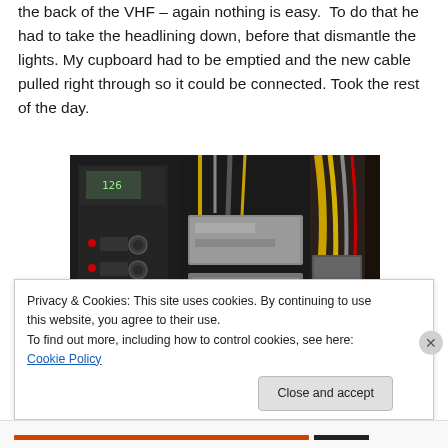the back of the VHF – again nothing is easy. To do that he had to take the headlining down, before that dismantle the lights. My cupboard had to be emptied and the new cable pulled right through so it could be connected. Took the rest of the day.
[Figure (photo): Photo of boat electronics panel and wiring - shows a control panel with switches and red indicator lights on the left, audio/electronic equipment in the center, and a bundle of cables/wiring on the right.]
Privacy & Cookies: This site uses cookies. By continuing to use this website, you agree to their use.
To find out more, including how to control cookies, see here: Cookie Policy